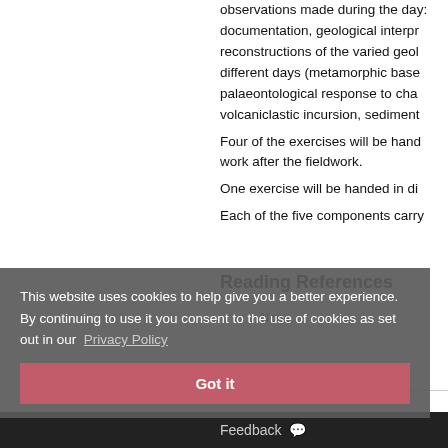observations made during the day: documentation, geological interpretations, reconstructions of the varied geological different days (metamorphic base, palaeontological response to change, volcaniclastic incursion, sediment. Four of the exercises will be handed in work after the fieldwork. One exercise will be handed in di Each of the five components carry
Reading References
None
This website uses cookies to help give you a better experience. By continuing to use it you consent to the use of cookies as set out in our Privacy Policy
Got it
Feedback